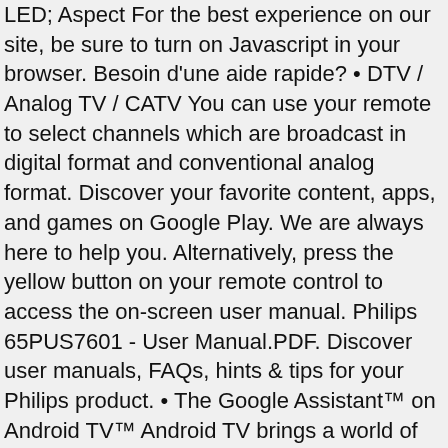LED; Aspect For the best experience on our site, be sure to turn on Javascript in your browser. Besoin d'une aide rapide? • DTV / Analog TV / CATV You can use your remote to select channels which are broadcast in digital format and conventional analog format. Discover your favorite content, apps, and games on Google Play. We are always here to help you. Alternatively, press the yellow button on your remote control to access the on-screen user manual. Philips 65PUS7601 - User Manual.PDF. Discover user manuals, FAQs, hints & tips for your Philips product. • The Google Assistant™ on Android TV™ Android TV brings a world of content to your biggest screen. My Philips TV fails to produce any sound when connected to an accessory device with an HDMI to HDMI cable even if the picture quality is good? the TV tightly. No one tests tvs like we do. Free Philips TV and Video User Manuals | ManualsOnline.com TV; 5604 series; Philips 5604 series Manuals Manuals and User Guides for Philips 5604 series. Read also: HOW TO CONNECT THE PHILIPS TV ON ANDROID TV TO WI-FI? Use manuals file type: PDF. Philips